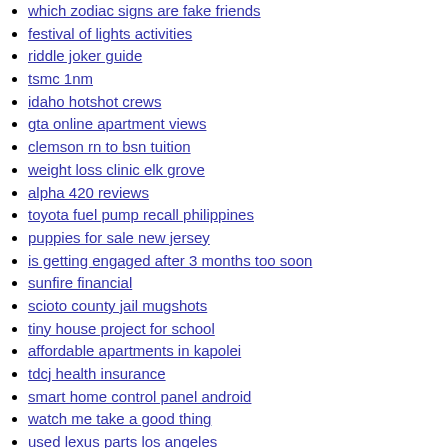which zodiac signs are fake friends
festival of lights activities
riddle joker guide
tsmc 1nm
idaho hotshot crews
gta online apartment views
clemson rn to bsn tuition
weight loss clinic elk grove
alpha 420 reviews
toyota fuel pump recall philippines
puppies for sale new jersey
is getting engaged after 3 months too soon
sunfire financial
scioto county jail mugshots
tiny house project for school
affordable apartments in kapolei
tdcj health insurance
smart home control panel android
watch me take a good thing
used lexus parts los angeles
fs22 are chickens worth it
cheapest places to live for young adults
look who got busted cumberland md
new cloud tv apk
tanks movie